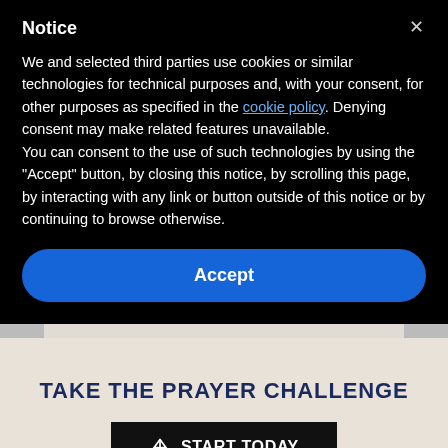Notice
We and selected third parties use cookies or similar technologies for technical purposes and, with your consent, for other purposes as specified in the cookie policy. Denying consent may make related features unavailable.
You can consent to the use of such technologies by using the "Accept" button, by closing this notice, by scrolling this page, by interacting with any link or button outside of this notice or by continuing to browse otherwise.
Accept
travel, how I served in church, and all the ways I could
TAKE THE PRAYER CHALLENGE
START TODAY